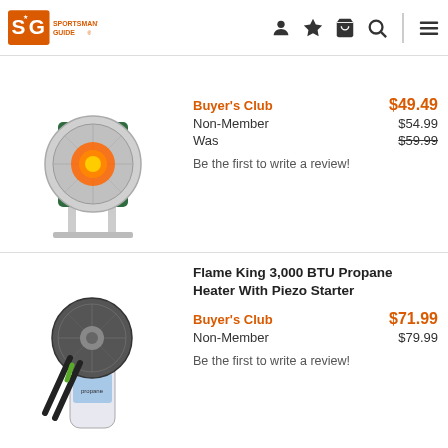Sportsman's Guide
[Figure (photo): Portable propane radiant heater with reflector dish, silver/chrome color with orange glow, on stand]
Buyer's Club $49.49
Non-Member $54.99
Was $59.99
Be the first to write a review!
[Figure (photo): Flame King 3,000 BTU propane heater with Piezo starter, handheld torch-style, attached to a small propane canister]
Flame King 3,000 BTU Propane Heater With Piezo Starter
Buyer's Club $71.99
Non-Member $79.99
Be the first to write a review!